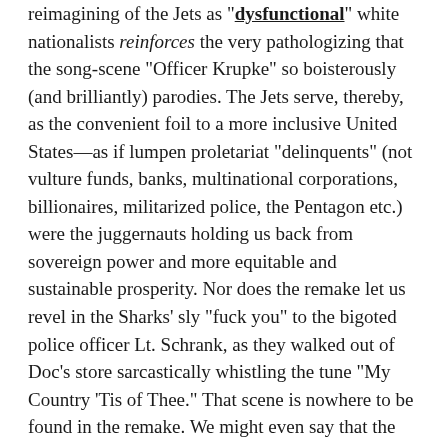reimagining of the Jets as "dysfunctional" white nationalists reinforces the very pathologizing that the song-scene "Officer Krupke" so boisterously (and brilliantly) parodies. The Jets serve, thereby, as the convenient foil to a more inclusive United States—as if lumpen proletariat "delinquents" (not vulture funds, banks, multinational corporations, billionaires, militarized police, the Pentagon etc.) were the juggernauts holding us back from sovereign power and more equitable and sustainable prosperity. Nor does the remake let us revel in the Sharks' sly "fuck you" to the bigoted police officer Lt. Schrank, as they walked out of Doc's store sarcastically whistling the tune "My Country 'Tis of Thee." That scene is nowhere to be found in the remake. We might even say that the Greek-American actor George Chakiris sang his lines in the "America" song—"everywhere grime in America… terrible time in America"—with more bravado and conviction than does the Cuban-Canadian actor David Alvarez in the 2021 remake. The original's "hard-hitting" content was not lost on 1960s audiences, including the